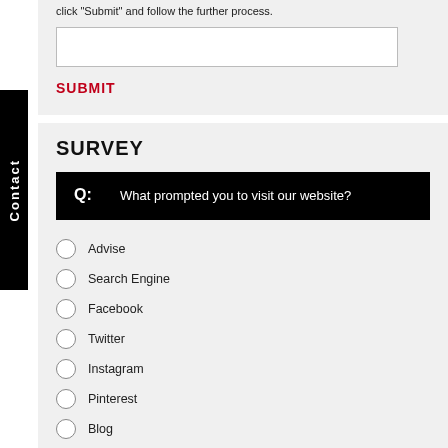click "Submit" and follow the further process.
SUBMIT
SURVEY
Q: What prompted you to visit our website?
Advise
Search Engine
Facebook
Twitter
Instagram
Pinterest
Blog